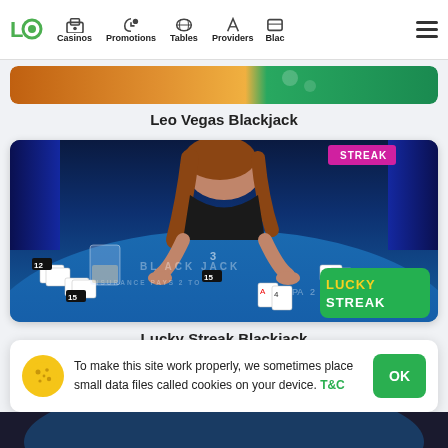Navigation: Casinos | Promotions | Tables | Providers | Blac
[Figure (screenshot): Leo Vegas Blackjack table screenshot - partially visible at top]
Leo Vegas Blackjack
[Figure (screenshot): Lucky Streak Blackjack live dealer table with dealer, cards, LUCKY STREAK logo in bottom right corner, STREAK badge top right]
Lucky Streak Blackjack
To make this site work properly, we sometimes place small data files called cookies on your device. T&C
OK